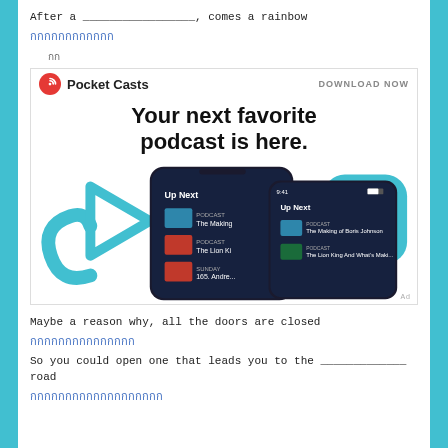After a _________________, comes a rainbow
กกกกกกกกกกกก
กก
[Figure (screenshot): Pocket Casts advertisement showing 'Your next favorite podcast is here.' with two smartphones displaying the Up Next queue including The Making of Boris Johnson and The Lion King and What's Making... podcasts. Blue decorative shapes in background. DOWNLOAD NOW link.]
Maybe a reason why, all the doors are closed
กกกกกกกกกกกกกกก
So you could open one that leads you to the _____________ road
กกกกกกกกกกกกกกกกกกก